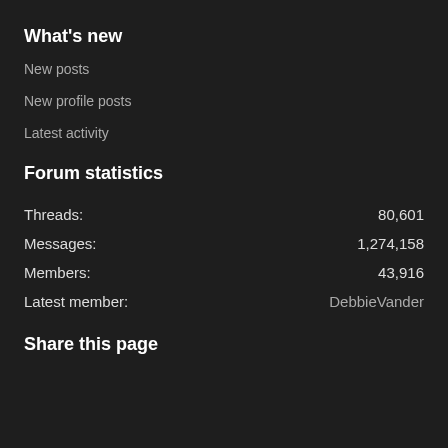What's new
New posts
New profile posts
Latest activity
Forum statistics
|  |  |
| --- | --- |
| Threads: | 80,601 |
| Messages: | 1,274,158 |
| Members: | 43,916 |
| Latest member: | DebbieVander |
Share this page